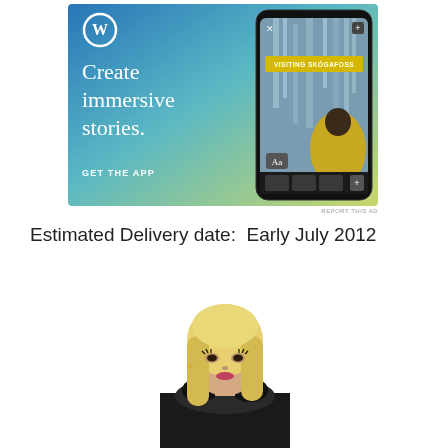[Figure (illustration): WordPress app advertisement banner with blue-green-yellow gradient background. Shows WordPress logo (W in circle), text 'Create immersive stories.' and 'GET THE APP', with a smartphone screenshot showing a waterfall scene labeled 'VISITING SKÓGAFOSS' and a person in a yellow jacket.]
REPORT THIS AD
Estimated Delivery date:  Early July 2012
[Figure (photo): A fashion doll with long blonde hair wearing a black fur coat, photographed against a white background.]